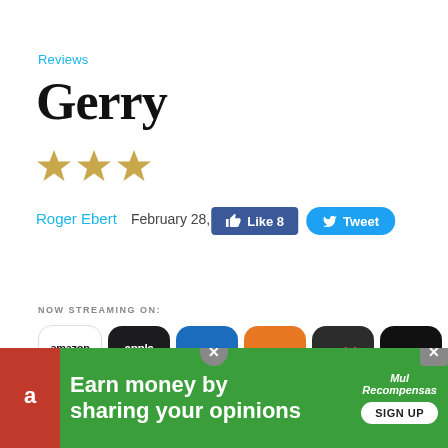Reviews
Gerry
[Figure (other): Three gold star rating icons]
Roger Ebert   February 28, 2003
[Figure (other): Like 8 button (Facebook) and Tweet button (Twitter)]
NOW STREAMING ON:
[Figure (other): Streaming service logos: amazon, Apple TV, VUDU, Crackle, tubi, kanopy]
[Figure (other): Advertisement banner: Earn money by sharing your opinions - Sign Up]